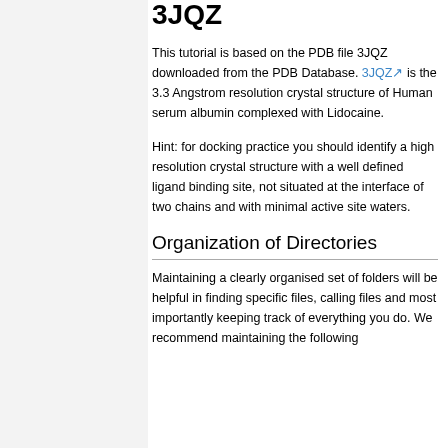3JQZ
This tutorial is based on the PDB file 3JQZ downloaded from the PDB Database. 3JQZ is the 3.3 Angstrom resolution crystal structure of Human serum albumin complexed with Lidocaine.
Hint: for docking practice you should identify a high resolution crystal structure with a well defined ligand binding site, not situated at the interface of two chains and with minimal active site waters.
Organization of Directories
Maintaining a clearly organised set of folders will be helpful in finding specific files, calling files and most importantly keeping track of everything you do. We recommend maintaining the following